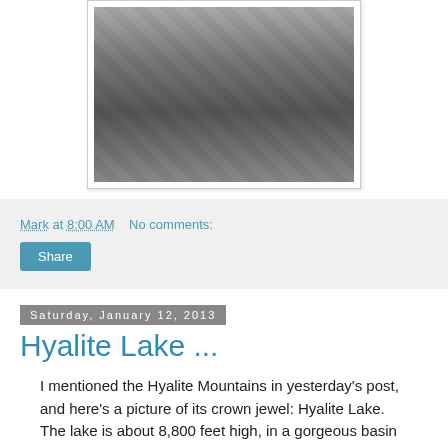[Figure (photo): Black and white photograph of a person in traditional Native American regalia with fringe and beaded necklaces, showing torso/chest area]
Mark at 8:00 AM    No comments:
Share
Saturday, January 12, 2013
Hyalite Lake ...
I mentioned the Hyalite Mountains in yesterday's post, and here's a picture of its crown jewel: Hyalite Lake. The lake is about 8,800 feet high, in a gorgeous basin in the shadow of its namesake peak, and is at the end of a five-mile trail that is arguably one of the most beautiful in the Rockies.
I took this photo in late July, the same day I found out. The last...